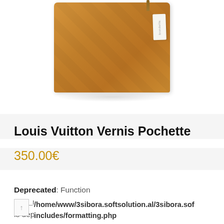[Figure (photo): Product photo of a tan/caramel colored Louis Vuitton leather pochette/clutch bag with a white branded hang tag, shown on a white background with a subtle shadow beneath]
Louis Vuitton Vernis Pochette
350.00€
Deprecated: Function get_magic_quotes_gpc() is deprecated in /home/www/3sibora.softsolution.al/3sibora.sof includes/formatting.php